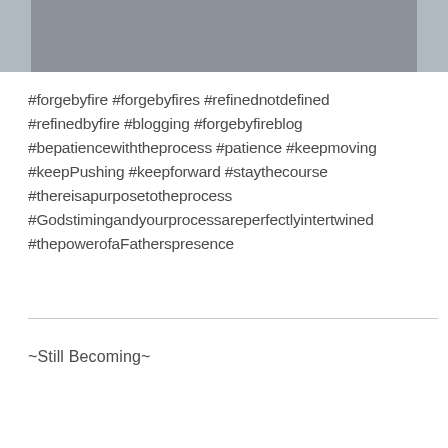[Figure (photo): Cropped photo showing lower legs and feet of two people standing on pavement, one wearing khaki pants and sneakers, the other wearing blue jeans and white shoes.]
#forgebyfire #forgebyfires #refinednotdefined #refinedbyfire #blogging #forgebyfireblog #bepatiencewiththeprocess #patience #keepmoving #keepPushing #keepforward #staythecourse #thereisapurposetotheprocess #Godstimingandyourprocessareperfectlyintertwined #thepowerofaFatherspresence
~Still Becoming~